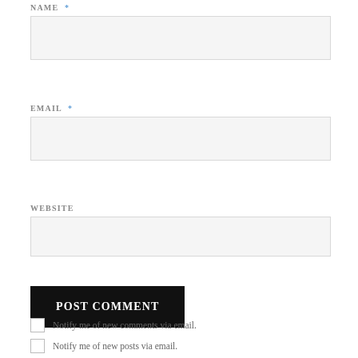NAME *
[Figure (other): Empty text input field for Name]
EMAIL *
[Figure (other): Empty text input field for Email]
WEBSITE
[Figure (other): Empty text input field for Website]
POST COMMENT
Notify me of new comments via email.
Notify me of new posts via email.